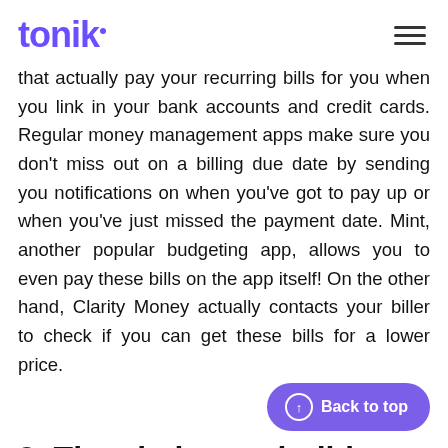tonik
that actually pay your recurring bills for you when you link in your bank accounts and credit cards. Regular money management apps make sure you don't miss out on a billing due date by sending you notifications on when you've got to pay up or when you've just missed the payment date. Mint, another popular budgeting app, allows you to even pay these bills on the app itself! On the other hand, Clarity Money actually contacts your biller to check if you can get these bills for a lower price.
2. They help you build financial